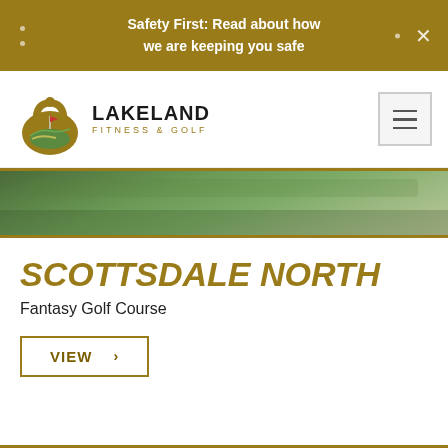Safety First: Read about how we are keeping you safe
[Figure (logo): Lakeland Fitness & Golf logo with kettlebell/golf ball icon]
[Figure (photo): Green golf course turf photo strip]
SCOTTSDALE NORTH
Fantasy Golf Course
VIEW >